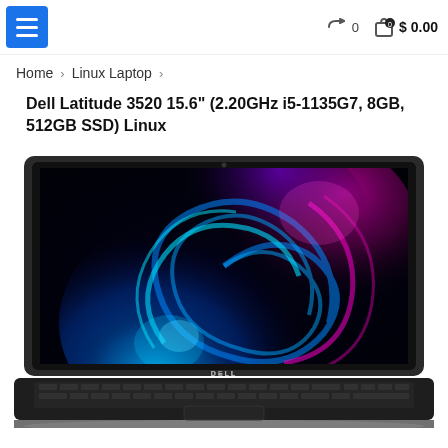Menu | 0 | 0 $0.00
Home › Linux Laptop ›
Dell Latitude 3520 15.6" (2.20GHz i5-1135G7, 8GB, 512GB SSD) Linux
[Figure (photo): Dell Latitude 3520 laptop with colorful swirling wallpaper on screen, viewed from front, in black color]